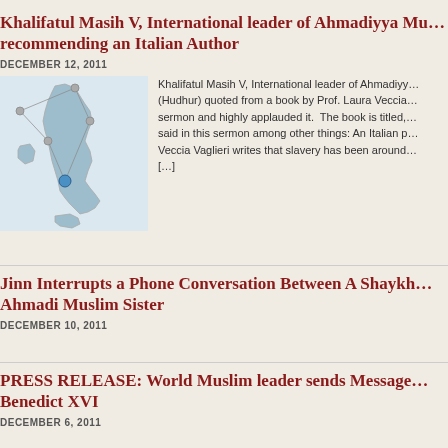Khalifatul Masih V, International leader of Ahmadiyya Mu... recommending an Italian Author
DECEMBER 12, 2011
[Figure (map): Map of Italy with location markers and connecting lines, highlighting a blue dot location in the central region.]
Khalifatul Masih V, International leader of Ahmadiyy... (Hudhur) quoted from a book by Prof. Laura Veccia... sermon and highly applauded it. The book is titled,... said in this sermon among other things: An Italian p... Veccia Vaglieri writes that slavery has been around... [...]
Jinn Interrupts a Phone Conversation Between A Shaykh... Ahmadi Muslim Sister
DECEMBER 10, 2011
PRESS RELEASE: World Muslim leader sends Message... Benedict XVI
DECEMBER 6, 2011